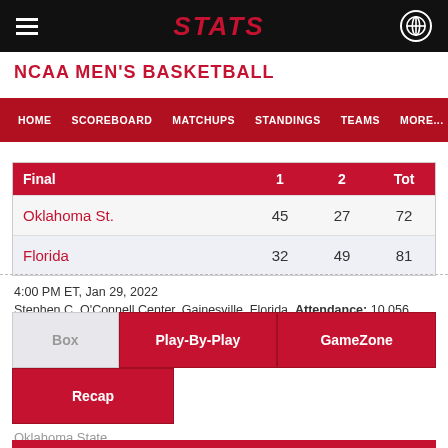STATS
NCAA MEN'S BASKETBALL
HOME   SCOREBOARD   MATCHUPS   STANDINGS   TEAMS   MORE...
| Final | 1 | 2 | Tot |
| --- | --- | --- | --- |
| Oklahoma St. | 45 | 27 | 72 |
| Florida | 32 | 49 | 81 |
4:00 PM ET, Jan 29, 2022
Stephen C. O'Connell Center, Gainesville, Florida   Attendance: 10,056
Box   Play-By-Play   GameZone   Recap
Oklahoma State